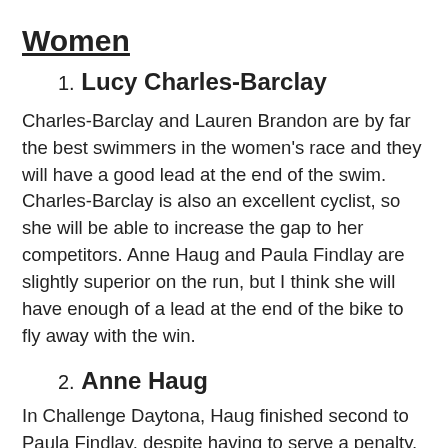Women
1. Lucy Charles-Barclay
Charles-Barclay and Lauren Brandon are by far the best swimmers in the women's race and they will have a good lead at the end of the swim. Charles-Barclay is also an excellent cyclist, so she will be able to increase the gap to her competitors. Anne Haug and Paula Findlay are slightly superior on the run, but I think she will have enough of a lead at the end of the bike to fly away with the win.
2. Anne Haug
In Challenge Daytona, Haug finished second to Paula Findlay, despite having to serve a penalty, and will no-